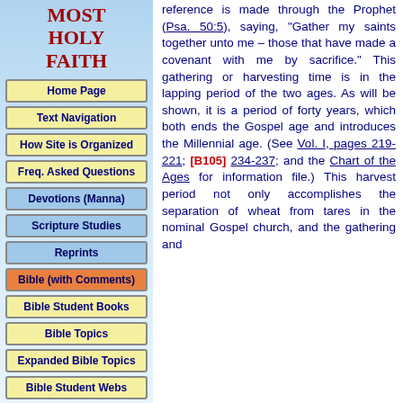MOST HOLY FAITH
Home Page
Text Navigation
How Site is Organized
Freq. Asked Questions
Devotions (Manna)
Scripture Studies
Reprints
Bible (with Comments)
Bible Student Books
Bible Topics
Expanded Bible Topics
Bible Student Webs
Miscellaneous
reference is made through the Prophet (Psa. 50:5), saying, "Gather my saints together unto me – those that have made a covenant with me by sacrifice." This gathering or harvesting time is in the lapping period of the two ages. As will be shown, it is a period of forty years, which both ends the Gospel age and introduces the Millennial age. (See Vol. I, pages 219-221; [B105] 234-237; and the Chart of the Ages for information file.) This harvest period not only accomplishes the separation of wheat from tares in the nominal Gospel church, and the gathering and